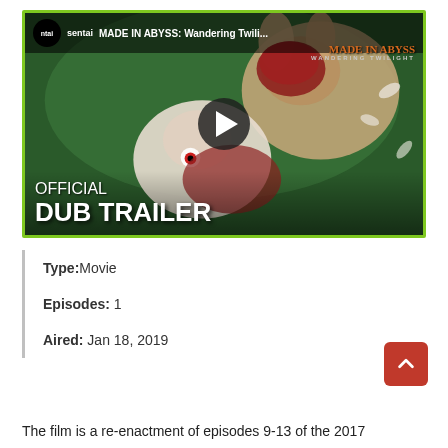[Figure (screenshot): Video thumbnail for 'MADE IN ABYSS: Wandering Twilight' official dub trailer from Sentai. Shows anime characters in a forest scene with a play button overlay. Text reads 'OFFICIAL DUB TRAILER' at the bottom left. Green border around the video player.]
Type: Movie
Episodes: 1
Aired: Jan 18, 2019
The film is a re-enactment of episodes 9-13 of the 2017